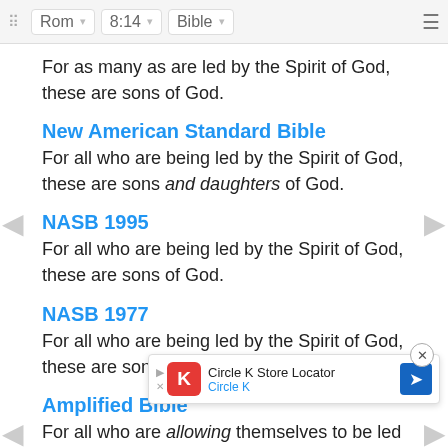Rom  8:14  Bible
For as many as are led by the Spirit of God, these are sons of God.
New American Standard Bible
For all who are being led by the Spirit of God, these are sons and daughters of God.
NASB 1995
For all who are being led by the Spirit of God, these are sons of God.
NASB 1977
For all who are being led by the Spirit of God, these are sons of God.
Amplified Bible
For all who are allowing themselves to be led by the Spirit...